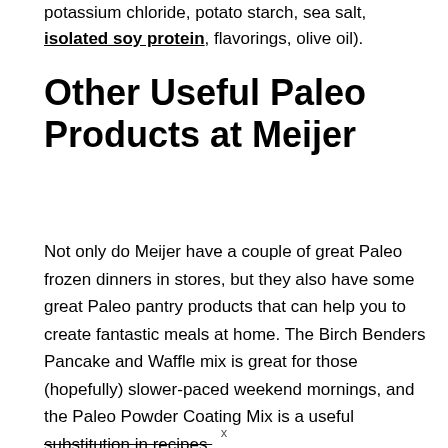potassium chloride, potato starch, sea salt, isolated soy protein, flavorings, olive oil).
Other Useful Paleo Products at Meijer
Not only do Meijer have a couple of great Paleo frozen dinners in stores, but they also have some great Paleo pantry products that can help you to create fantastic meals at home. The Birch Benders Pancake and Waffle mix is great for those (hopefully) slower-paced weekend mornings, and the Paleo Powder Coating Mix is a useful substitution in recipes.
x